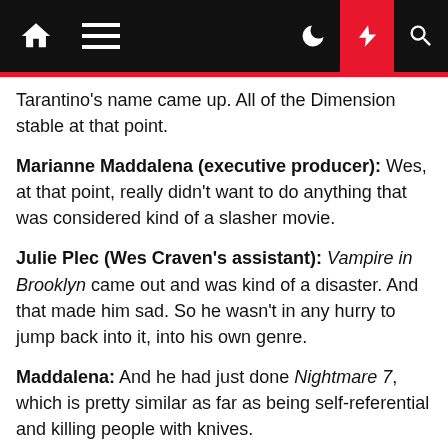Navigation bar with home, menu, moon, lightning, and search icons
Tarantino's name came up. All of the Dimension stable at that point.
Marianne Maddalena (executive producer): Wes, at that point, really didn't want to do anything that was considered kind of a slasher movie.
Julie Plec (Wes Craven's assistant): Vampire in Brooklyn came out and was kind of a disaster. And that made him sad. So he wasn't in any hurry to jump back into it, into his own genre.
Maddalena: And he had just done Nightmare 7, which is pretty similar as far as being self-referential and killing people with knives.
Williamson: I do know Julie read it. And she understood it.